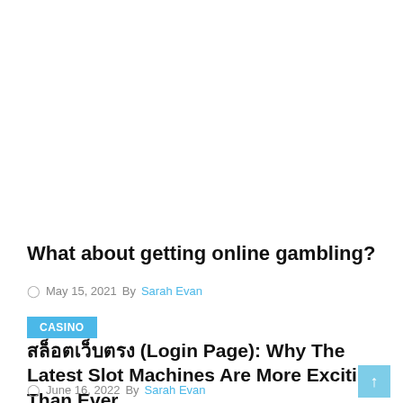What about getting online gambling?
May 15, 2021  By Sarah Evan
CASINO
สล็อตเว็บตรง (Login Page): Why The Latest Slot Machines Are More Exciting Than Ever
June 16, 2022  By Sarah Evan